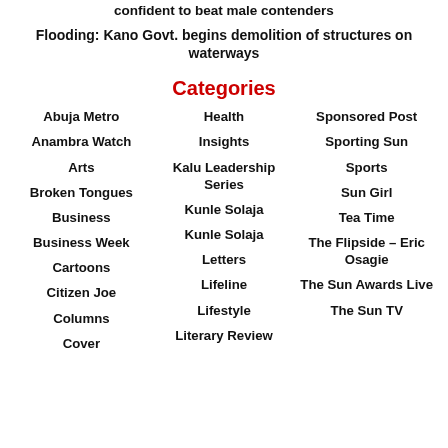confident to beat male contenders
Flooding: Kano Govt. begins demolition of structures on waterways
Categories
Abuja Metro
Anambra Watch
Arts
Broken Tongues
Business
Business Week
Cartoons
Citizen Joe
Columns
Cover
Health
Insights
Kalu Leadership Series
Kunle Solaja
Kunle Solaja
Letters
Lifeline
Lifestyle
Literary Review
Sponsored Post
Sporting Sun
Sports
Sun Girl
Tea Time
The Flipside – Eric Osagie
The Sun Awards Live
The Sun TV